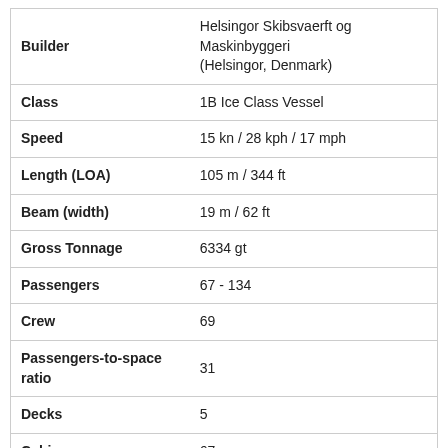| Property | Value |
| --- | --- |
| Builder | Helsingor Skibsvaerft og Maskinbyggeri (Helsingor, Denmark) |
| Class | 1B Ice Class Vessel |
| Speed | 15 kn / 28 kph / 17 mph |
| Length (LOA) | 105 m / 344 ft |
| Beam (width) | 19 m / 62 ft |
| Gross Tonnage | 6334 gt |
| Passengers | 67 - 134 |
| Crew | 69 |
| Passengers-to-space ratio | 31 |
| Decks | 5 |
| Cabins | 67 |
| Decks with cabins | 3 |